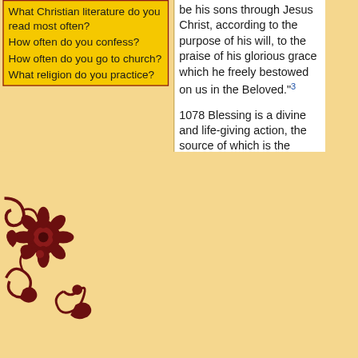What Christian literature do you read most often?
How often do you confess?
How often do you go to church?
What religion do you practice?
[Figure (illustration): Decorative dark red floral/ornamental corner piece in baroque style]
be his sons through Jesus Christ, according to the purpose of his will, to the praise of his glorious grace which he freely bestowed on us in the Beloved."3
1078 Blessing is a divine and life-giving action, the source of which is the Father; his blessing is both word and gift.4 When applied to man, the word "blessing" means adoration and surrender to his Creator in thanksgiving.
1079 From the beginning until the end of time the whole